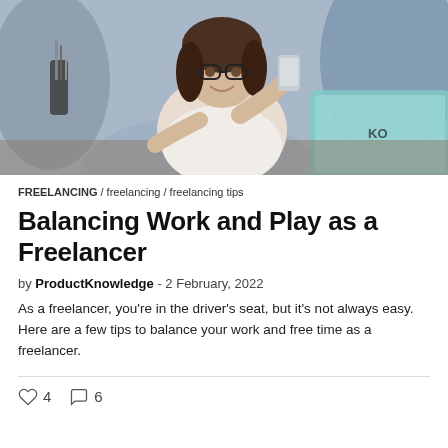[Figure (photo): Woman with glasses holding a smartphone, sitting in front of a laptop at a desk with office supplies in the background]
FREELANCING / freelancing / freelancing tips
Balancing Work and Play as a Freelancer
by ProductKnowledge - 2 February, 2022
As a freelancer, you're in the driver's seat, but it's not always easy. Here are a few tips to balance your work and free time as a freelancer.
4 likes, 6 comments